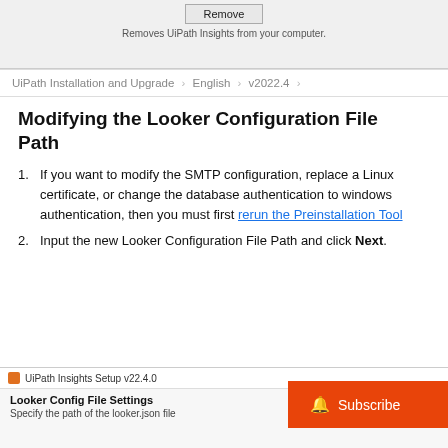[Figure (screenshot): Top of a Windows installer dialog showing a 'Remove' button with caption 'Removes UiPath Insights from your computer.']
UiPath Installation and Upgrade > English > v2022.4 >
Modifying the Looker Configuration File Path
1. If you want to modify the SMTP configuration, replace a Linux certificate, or change the database authentication to windows authentication, then you must first rerun the Preinstallation Tool
2. Input the new Looker Configuration File Path and click Next.
[Figure (screenshot): UiPath Insights Setup v22.4.0 dialog showing 'Looker Config File Settings' with subtitle 'Specify the path of the looker.json file']